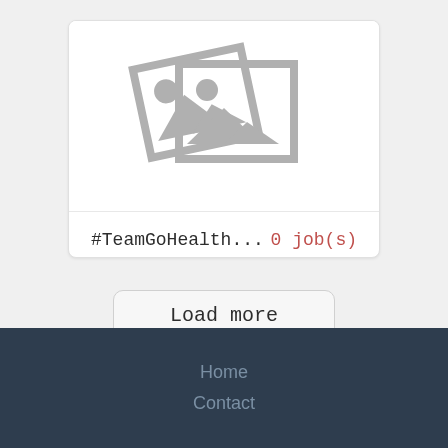[Figure (illustration): Placeholder image icon showing two overlapping photo frames with a landscape/mountain and sun icon, rendered in grey on white background]
#TeamGoHealth...   0 job(s)
Load more
Home
Contact